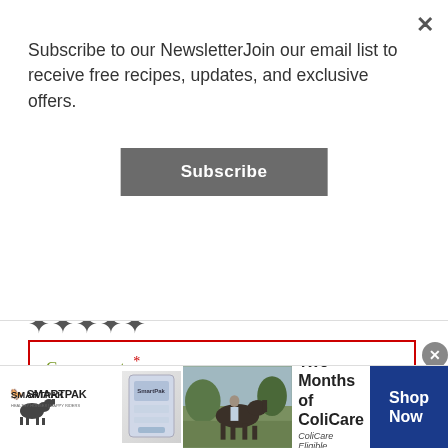Subscribe to our NewsletterJoin our email list to receive free recipes, updates, and exclusive offers.
Subscribe
★★★★★
Comment *
[Figure (infographic): SmartPak advertisement banner: 50% Off Two Months of ColiCare, ColiCare Eligible Supplements, CODE: COLICARE10, with Shop Now button]